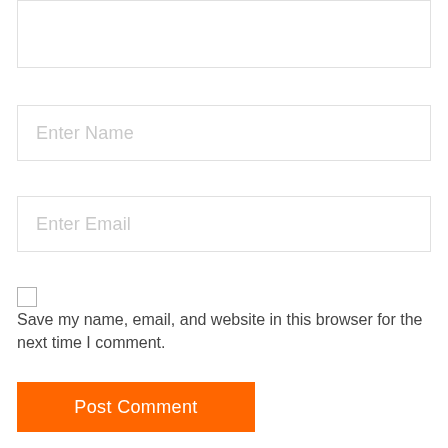[Figure (screenshot): Top portion of a textarea input field (partially visible, cropped at top of page)]
Enter Name
Enter Email
Save my name, email, and website in this browser for the next time I comment.
Post Comment